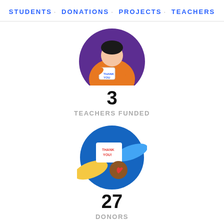STUDENTS · DONATIONS · PROJECTS · TEACHERS
[Figure (illustration): Circular illustration of a teacher/student figure with purple and orange colors, reading a book]
3
TEACHERS FUNDED
[Figure (illustration): Circular blue illustration of two hands exchanging a thank you card and a heart gift]
27
DONORS
[Figure (illustration): Partial circular illustration showing a purple/blue tablet or device at the bottom of the page]